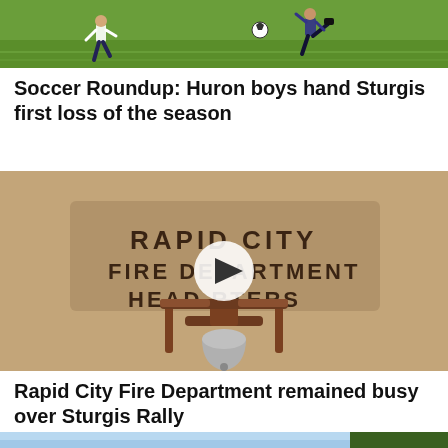[Figure (photo): Soccer players on a green field, action shot]
Soccer Roundup: Huron boys hand Sturgis first loss of the season
[Figure (photo): Rapid City Fire Department Headquarters building exterior with bell monument in foreground and video play button overlay]
Rapid City Fire Department remained busy over Sturgis Rally
[Figure (photo): Outdoor scene with sky and trees, partial view]